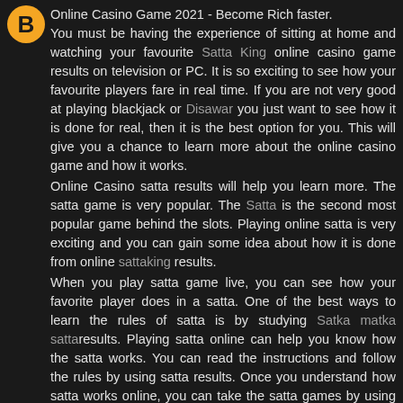[Figure (logo): Orange circle with letter B logo in top left corner]
Online Casino Game 2021 - Become Rich faster. You must be having the experience of sitting at home and watching your favourite Satta King online casino game results on television or PC. It is so exciting to see how your favourite players fare in real time. If you are not very good at playing blackjack or Disawar you just want to see how it is done for real, then it is the best option for you. This will give you a chance to learn more about the online casino game and how it works.
Online Casino satta results will help you learn more. The satta game is very popular. The Satta is the second most popular game behind the slots. Playing online satta is very exciting and you can gain some idea about how it is done from online sattaking results.
When you play satta game live, you can see how your favorite player does in a satta. One of the best ways to learn the rules of satta is by studying Satka matka sattaresults. Playing satta online can help you know how the satta works. You can read the instructions and follow the rules by using satta results. Once you understand how satta works online, you can take the satta games by using satta results.